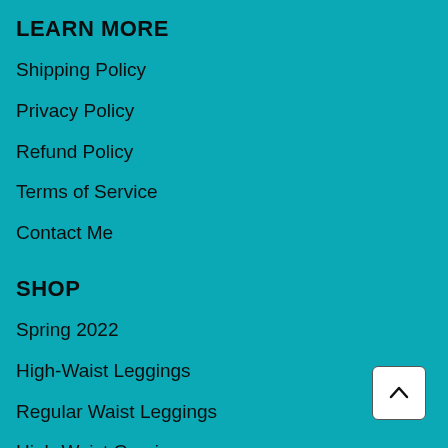LEARN MORE
Shipping Policy
Privacy Policy
Refund Policy
Terms of Service
Contact Me
SHOP
Spring 2022
High-Waist Leggings
Regular Waist Leggings
High-Waist Capris
Regular Waist Capris
Shorts